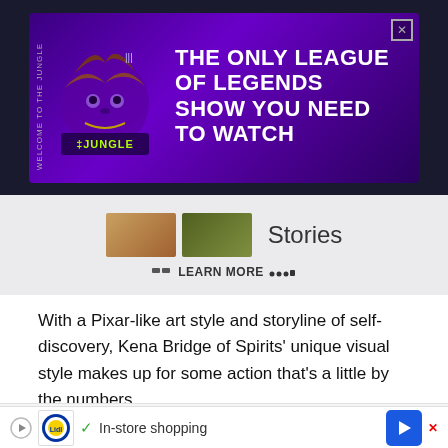[Figure (screenshot): Advertisement banner for 'The Jungle' - The Only League of Legends Show You Need to Watch, with purple background and jungle-themed logo]
[Figure (screenshot): Partial interface showing thumbnail images, 'Stories' text, and 'LEARN MORE' button with navigation dots]
With a Pixar-like art style and storyline of self-discovery, Kena Bridge of Spirits' unique visual style makes up for some action that's a little by the numbers.
Kena Bridge of Spirits key details
[Figure (screenshot): Bottom advertisement bar for Lidl showing 'In-store shopping' with navigation arrow icon]